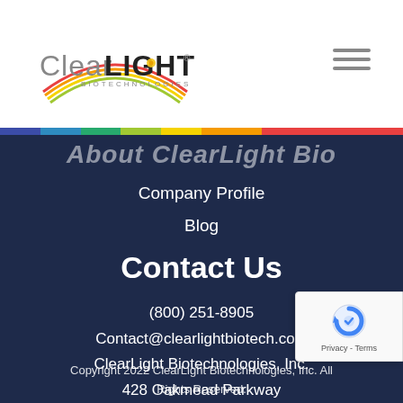ClearLIGHT BIOTECHNOLOGIES
About ClearLight Bio
Company Profile
Blog
Contact Us
(800) 251-8905
Contact@clearlightbiotech.com
ClearLight Biotechnologies, Inc.
428 Oakmead Parkway
Sunnyvale, CA 94085
Copyright 2022 ClearLight Biotechnologies, Inc. All Rights Reserved.